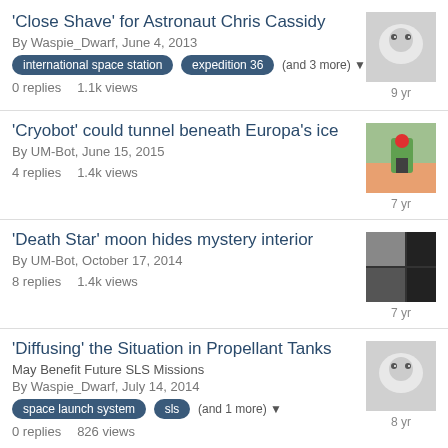'Close Shave' for Astronaut Chris Cassidy
By Waspie_Dwarf, June 4, 2013
tags: international space station, expedition 36, (and 3 more)
0 replies   1.1k views   9 yr
'Cryobot' could tunnel beneath Europa's ice
By UM-Bot, June 15, 2015
4 replies   1.4k views   7 yr
'Death Star' moon hides mystery interior
By UM-Bot, October 17, 2014
8 replies   1.4k views   7 yr
'Diffusing' the Situation in Propellant Tanks
May Benefit Future SLS Missions
By Waspie_Dwarf, July 14, 2014
tags: space launch system, sls, (and 1 more)
0 replies   826 views   8 yr